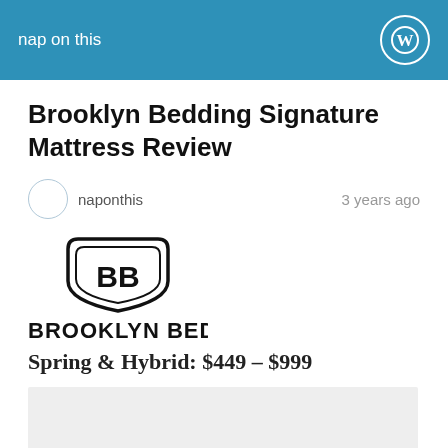nap on this
Brooklyn Bedding Signature Mattress Review
naponthis   3 years ago
[Figure (logo): Brooklyn Bedding logo: stylized BB shield shape above the text BROOKLYN BEDDING in bold black letters]
Spring & Hybrid: $449 – $999